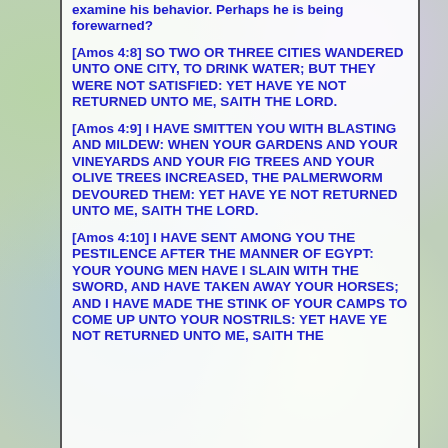examine his behavior. Perhaps he is being forewarned?
[Amos 4:8] SO TWO OR THREE CITIES WANDERED UNTO ONE CITY, TO DRINK WATER; BUT THEY WERE NOT SATISFIED: YET HAVE YE NOT RETURNED UNTO ME, SAITH THE LORD.
[Amos 4:9] I HAVE SMITTEN YOU WITH BLASTING AND MILDEW: WHEN YOUR GARDENS AND YOUR VINEYARDS AND YOUR FIG TREES AND YOUR OLIVE TREES INCREASED, THE PALMERWORM DEVOURED THEM: YET HAVE YE NOT RETURNED UNTO ME, SAITH THE LORD.
[Amos 4:10] I HAVE SENT AMONG YOU THE PESTILENCE AFTER THE MANNER OF EGYPT: YOUR YOUNG MEN HAVE I SLAIN WITH THE SWORD, AND HAVE TAKEN AWAY YOUR HORSES; AND I HAVE MADE THE STINK OF YOUR CAMPS TO COME UP UNTO YOUR NOSTRILS: YET HAVE YE NOT RETURNED UNTO ME, SAITH THE